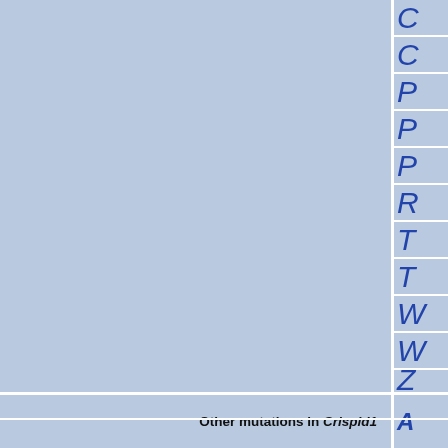|  |  |  |
| --- | --- | --- |
|  |  | C |
|  |  | C |
|  |  | P |
|  |  | P |
|  |  | P |
|  |  | R |
|  |  | T |
|  |  | T |
|  |  | W |
|  |  | W |
|  |  | Z |
| Other mutations in Crispld1 |  | A |
|  |  | IC |
|  |  | IC |
|  |  | IC |